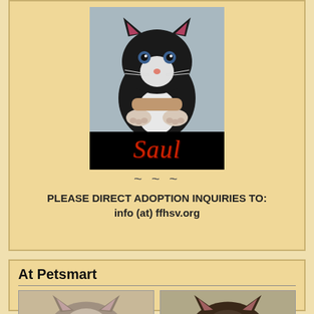[Figure (photo): Photo of a small black and white kitten being held up, with the name 'Saul' displayed in red italic script on a black background below the photo.]
~ ~ ~
PLEASE DIRECT ADOPTION INQUIRIES TO:
info (at) ffhsv.org
At Petsmart
[Figure (photo): Photo of a gray and white kitten face viewed from front, only top of head and ears visible.]
[Figure (photo): Photo of a dark brown/black kitten face viewed from front, only top of head and ears visible.]